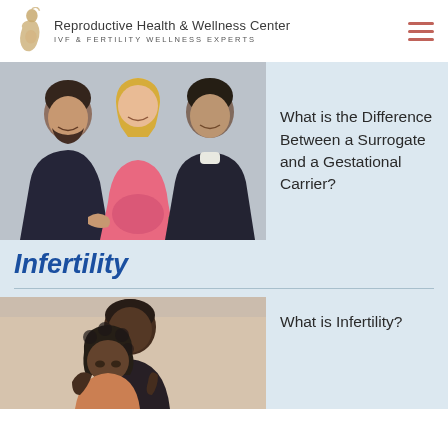Reproductive Health & Wellness Center | IVF & FERTILITY WELLNESS EXPERTS
[Figure (photo): Three adults sitting together smiling — two men and a pregnant woman in a pink top, with hands on her belly, against a white background.]
What is the Difference Between a Surrogate and a Gestational Carrier?
Infertility
[Figure (photo): A man hugging a woman from behind, both looking downward with a somber expression, suggesting distress related to infertility.]
What is Infertility?